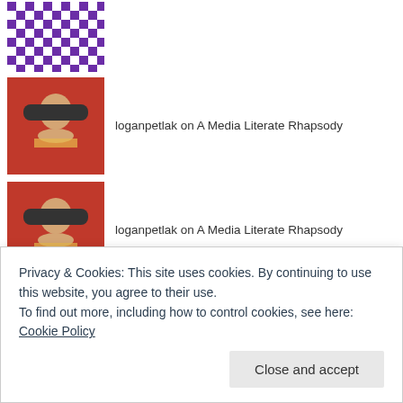[Figure (photo): Purple and white geometric pattern avatar thumbnail]
[Figure (photo): Person in red shirt avatar thumbnail]
loganpetlak on A Media Literate Rhapsody
[Figure (photo): Person in red shirt avatar thumbnail]
loganpetlak on A Media Literate Rhapsody
ARCHIVES
October 2021
February 2020
April 2018
March 2018
February 2018
Privacy & Cookies: This site uses cookies. By continuing to use this website, you agree to their use. To find out more, including how to control cookies, see here: Cookie Policy
Close and accept